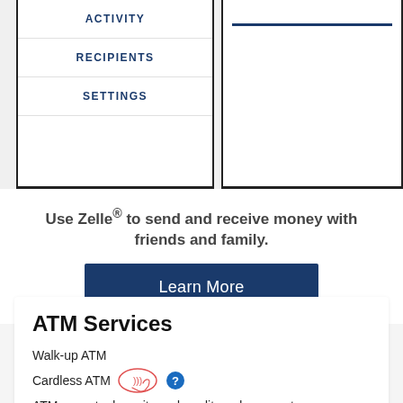[Figure (screenshot): Mobile app screenshot showing a phone menu with ACTIVITY, RECIPIENTS, SETTINGS items and a right panel with a blue horizontal line]
Use Zelle® to send and receive money with friends and family.
Learn More
ATM Services
Walk-up ATM
Cardless ATM
ATM accepts deposits and credit card payments
ATM located inside